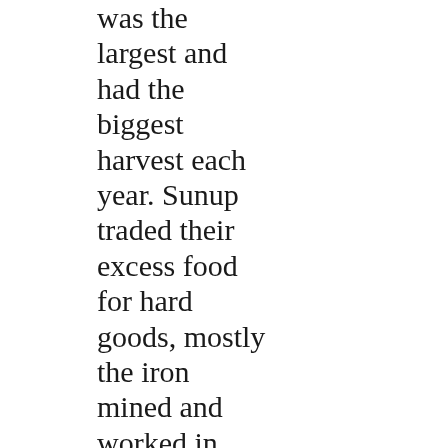was the largest and had the biggest harvest each year. Sunup traded their excess food for hard goods, mostly the iron mined and worked in Crosscreek and the wool from